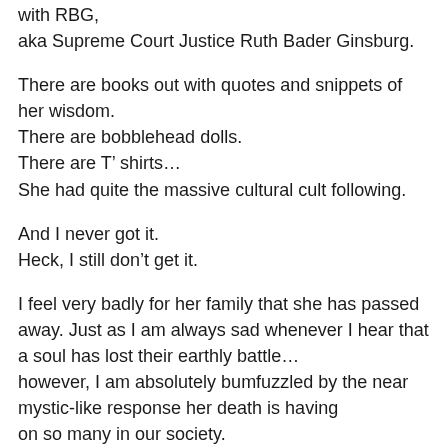with RBG,
aka Supreme Court Justice Ruth Bader Ginsburg.
There are books out with quotes and snippets of her wisdom.
There are bobblehead dolls.
There are T’ shirts…
She had quite the massive cultural cult following.
And I never got it.
Heck, I still don’t get it.
I feel very badly for her family that she has passed away. Just as I am always sad whenever I hear that a soul has lost their earthly battle…
however, I am absolutely bumfuzzled by the near mystic-like response her death is having
on so many in our society.